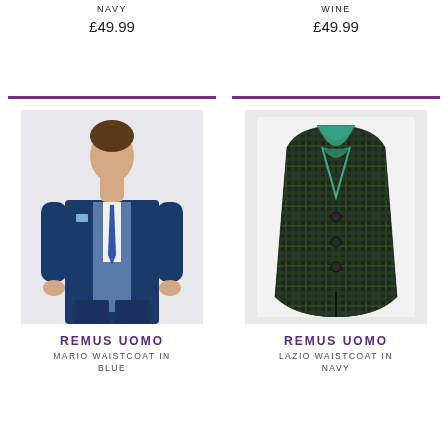NAVY
WINE
£49.99
£49.99
[Figure (photo): Man wearing a navy blue suit with waistcoat and tie]
[Figure (photo): Dark navy/green tartan check waistcoat shown flat, with teal lining visible at neckline]
REMUS UOMO
MARIO WAISTCOAT IN BLUE
REMUS UOMO
LAZIO WAISTCOAT IN NAVY